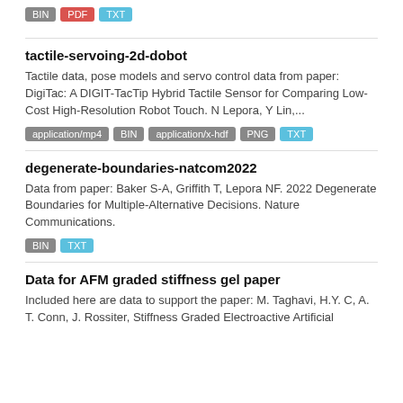BIN PDF TXT
tactile-servoing-2d-dobot
Tactile data, pose models and servo control data from paper: DigiTac: A DIGIT-TacTip Hybrid Tactile Sensor for Comparing Low-Cost High-Resolution Robot Touch. N Lepora, Y Lin,...
application/mp4 BIN application/x-hdf PNG TXT
degenerate-boundaries-natcom2022
Data from paper: Baker S-A, Griffith T, Lepora NF. 2022 Degenerate Boundaries for Multiple-Alternative Decisions. Nature Communications.
BIN TXT
Data for AFM graded stiffness gel paper
Included here are data to support the paper: M. Taghavi, H.Y. C, A. T. Conn, J. Rossiter, Stiffness Graded Electroactive Artificial